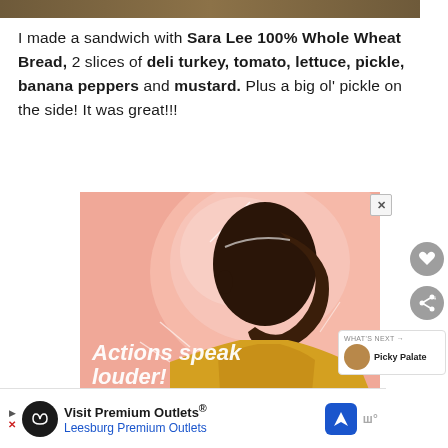[Figure (photo): Partial top strip of a food photo (sandwich/bread image cropped at top)]
I made a sandwich with Sara Lee 100% Whole Wheat Bread, 2 slices of deli turkey, tomato, lettuce, pickle, banana peppers and mustard. Plus a big ol' pickle on the side! It was great!!!
[Figure (illustration): Advertisement featuring an illustrated profile of a Black man in a yellow turtleneck against a pink swirling background with text 'Actions speak louder!' in white bold italic font]
[Figure (screenshot): Bottom advertisement banner: 'Visit Premium Outlets® Leesburg Premium Outlets' with navigation arrow icon and logo]